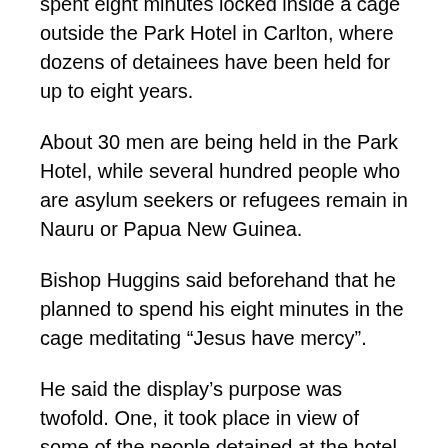spent eight minutes locked inside a cage outside the Park Hotel in Carlton, where dozens of detainees have been held for up to eight years.
About 30 men are being held in the Park Hotel, while several hundred people who are asylum seekers or refugees remain in Nauru or Papua New Guinea.
Bishop Huggins said beforehand that he planned to spend his eight minutes in the cage meditating “Jesus have mercy”.
He said the display’s purpose was twofold. One, it took place in view of some of the people detained at the hotel, giving them encouragement and comfort.
Second, Bishop Huggins said he hoped any media generated would increase pressure on Prime Minister Scott Morrison and Opposition Leader Anthony Albanese to develop a bipartisan solution to free detainees.